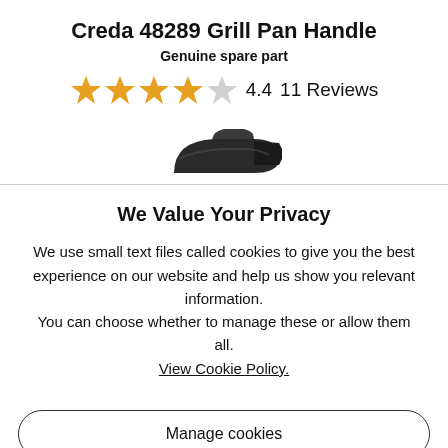Creda 48289 Grill Pan Handle
Genuine spare part
4.4  11 Reviews
[Figure (photo): Grill pan handle product image, dark grey/black handle visible at bottom of top section]
We Value Your Privacy
We use small text files called cookies to give you the best experience on our website and help us show you relevant information.
You can choose whether to manage these or allow them all.
View Cookie Policy.
Manage cookies
Allow all